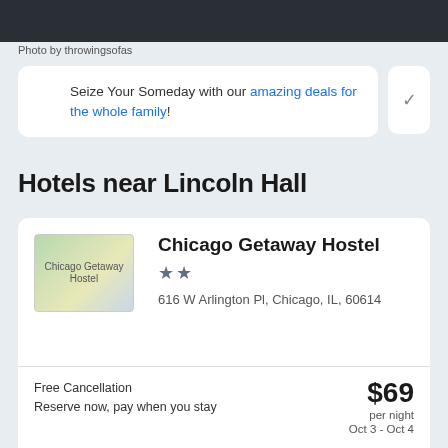[Figure (photo): Dark city skyline banner image at top of page]
Photo by throwingsofas
Seize Your Someday with our amazing deals for the whole family!
Hotels near Lincoln Hall
[Figure (photo): Chicago Getaway Hostel thumbnail image placeholder]
Chicago Getaway Hostel
★★
616 W Arlington Pl, Chicago, IL, 60614
Free Cancellation
Reserve now, pay when you stay
$69 per night
Oct 3 - Oct 4
0.27 mi from Lincoln Hall